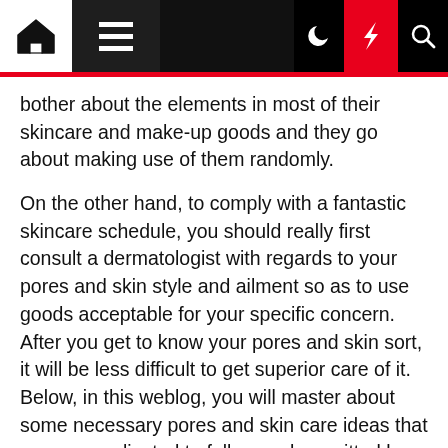Navigation bar with home, menu, dark mode, lightning, and search icons
bother about the elements in most of their skincare and make-up goods and they go about making use of them randomly.
On the other hand, to comply with a fantastic skincare schedule, you should really first consult a dermatologist with regards to your pores and skin style and ailment so as to use goods acceptable for your specific concern. After you get to know your pores and skin sort, it will be less difficult to get superior care of it. Below, in this weblog, you will master about some necessary pores and skin care ideas that are uncomplicated to follow and permitted by dermatologists. Let's discover:
Use Pores and skin-Welcoming Cleanser